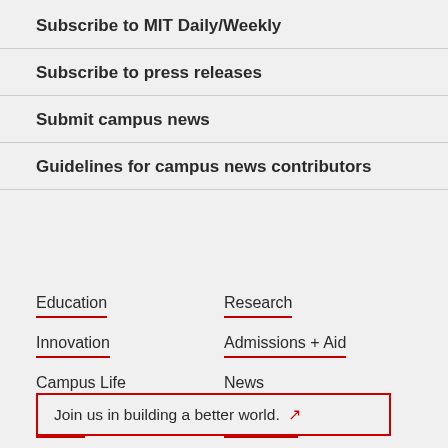Subscribe to MIT Daily/Weekly
Subscribe to press releases
Submit campus news
Guidelines for campus news contributors
Education
Research
Innovation
Admissions + Aid
Campus Life
News
Alumni
About MIT
Join us in building a better world. ↗